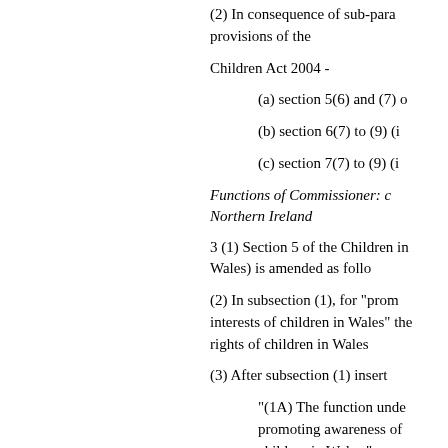(2) In consequence of sub-para provisions of the
Children Act 2004 -
(a) section 5(6) and (7) o
(b) section 6(7) to (9) (i
(c) section 7(7) to (9) (i
Functions of Commissioner: c Northern Ireland
3 (1) Section 5 of the Children in Wales) is amended as follo
(2) In subsection (1), for "prom interests of children in Wales" the rights of children in Wales
(3) After subsection (1) insert
"(1A) The function unde promoting awareness of children in Wales."